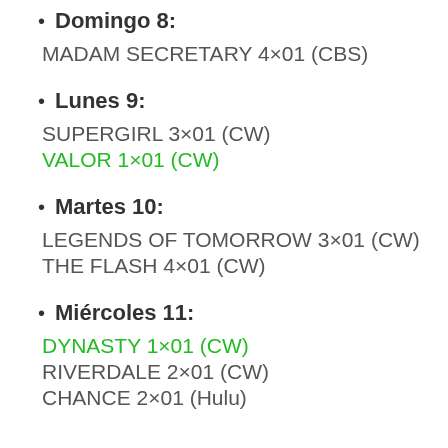Domingo 8:
MADAM SECRETARY 4×01 (CBS)
Lunes 9:
SUPERGIRL 3×01 (CW)
VALOR 1×01 (CW)
Martes 10:
LEGENDS OF TOMORROW 3×01 (CW)
THE FLASH 4×01 (CW)
Miércoles 11:
DYNASTY 1×01 (CW)
RIVERDALE 2×01 (CW)
CHANCE 2×01 (Hulu)